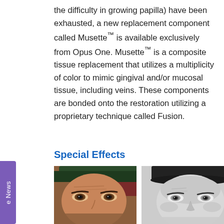the difficulty in growing papilla) have been exhausted, a new replacement component called Musette™ is available exclusively from Opus One. Musette™ is a composite tissue replacement that utilizes a multiplicity of color to mimic gingival and/or mucosal tissue, including veins. These components are bonded onto the restoration utilizing a proprietary technique called Fusion.
Special Effects
[Figure (photo): Close-up color photo of a person's face wearing a dark headband, showing eyes and forehead]
[Figure (photo): Close-up black and white photo of a person's face wearing a dark hat, showing eyes, nose, and cheeks]